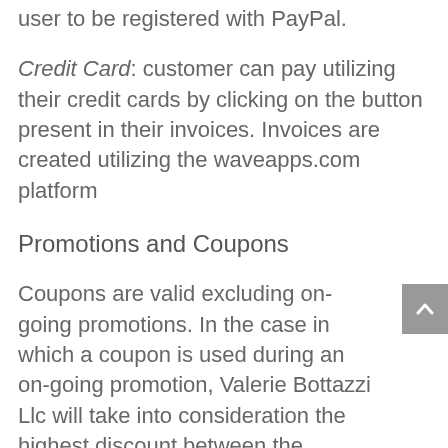user to be registered with PayPal.
Credit Card: customer can pay utilizing their credit cards by clicking on the button present in their invoices. Invoices are created utilizing the waveapps.com platform
Promotions and Coupons
Coupons are valid excluding on-going promotions. In the case in which a coupon is used during an on-going promotion, Valerie Bottazzi Llc will take into consideration the highest discount between the coupon and the current promotion.